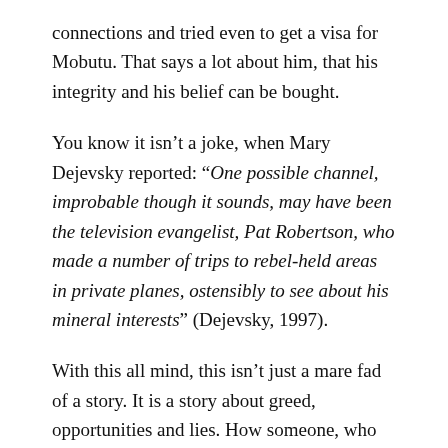connections and tried even to get a visa for Mobutu. That says a lot about him, that his integrity and his belief can be bought.
You know it isn't a joke, when Mary Dejevsky reported: "One possible channel, improbable though it sounds, may have been the television evangelist, Pat Robertson, who made a number of trips to rebel-held areas in private planes, ostensibly to see about his mineral interests" (Dejevsky, 1997).
With this all mind, this isn't just a mare fad of a story. It is a story about greed, opportunities and lies. How someone, who you thought should spread the message of hope and care, are instead involved in sinister trade and acts, where he supported one of the worst dictatorships of his time.